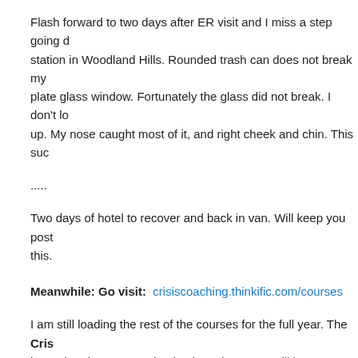Flash forward to two days after ER visit and I miss a step going down at a gas station in Woodland Hills. Rounded trash can does not break my fall into plate glass window. Fortunately the glass did not break. I don't lo up. My nose caught most of it, and right cheek and chin. This suc
.....
Two days of hotel to recover and back in van. Will keep you post this.
Meanwhile: Go visit:  crisiscoaching.thinkific.com/courses
I am still loading the rest of the courses for the full year. The Cris be updated on an ongoing basis and courses will be delivered in
Delivery is via webinars, audio clips, power point, mixed media, o and more.
Full course covers: Legal, insurance, navigating healthcare, adul repair loans, reverse mortgages, dying and death issues, estate border/ out of country estate issues.